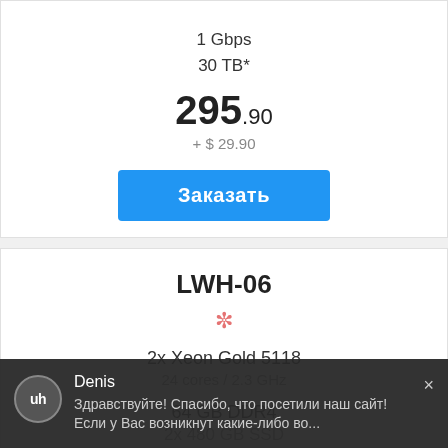1 Gbps
30 TB*
295.90
+ $ 29.90
Заказать
LWH-06
2x Xeon Gold 5118
24 cores / 2.3 GHz
64 GB DDR4
2x 480 GB SSD
1 Gbps
Denis
Здравствуйте! Спасибо, что посетили наш сайт! Если у Вас возникнут какие-либо во...